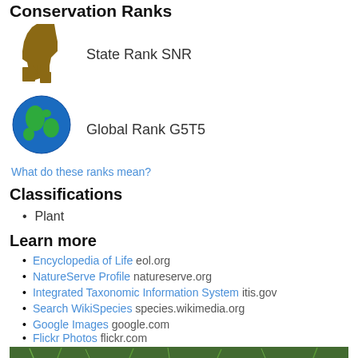Conservation Ranks
[Figure (logo): Idaho state outline icon in brown/gold color]
State Rank SNR
[Figure (illustration): Globe icon showing Earth with blue oceans and green continents]
Global Rank G5T5
What do these ranks mean?
Classifications
Plant
Learn more
Encyclopedia of Life eol.org
NatureServe Profile natureserve.org
Integrated Taxonomic Information System itis.gov
Search WikiSpecies species.wikimedia.org
Google Images google.com
Flickr Photos flickr.com
[Figure (photo): Photograph of green grass or plant vegetation]